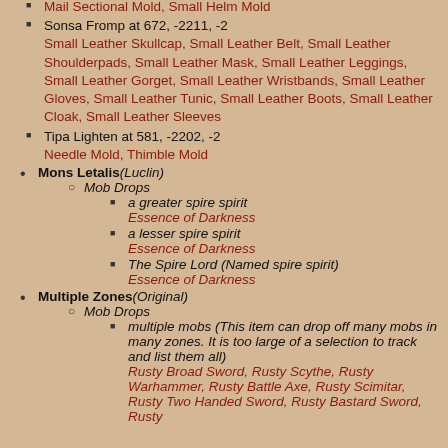Mail Sectional Mold, Small Helm Mold
Sonsa Fromp at 672, -2211, -2 Small Leather Skullcap, Small Leather Belt, Small Leather Shoulderpads, Small Leather Mask, Small Leather Leggings, Small Leather Gorget, Small Leather Wristbands, Small Leather Gloves, Small Leather Tunic, Small Leather Boots, Small Leather Cloak, Small Leather Sleeves
Tipa Lighten at 581, -2202, -2 Needle Mold, Thimble Mold
Mons Letalis (Luclin)
Mob Drops
a greater spire spirit Essence of Darkness
a lesser spire spirit Essence of Darkness
The Spire Lord (Named spire spirit) Essence of Darkness
Multiple Zones (Original)
Mob Drops
multiple mobs (This item can drop off many mobs in many zones. It is too large of a selection to track and list them all) Rusty Broad Sword, Rusty Scythe, Rusty Warhammer, Rusty Battle Axe, Rusty Scimitar, Rusty Two Handed Sword, Rusty Bastard Sword, Rusty...